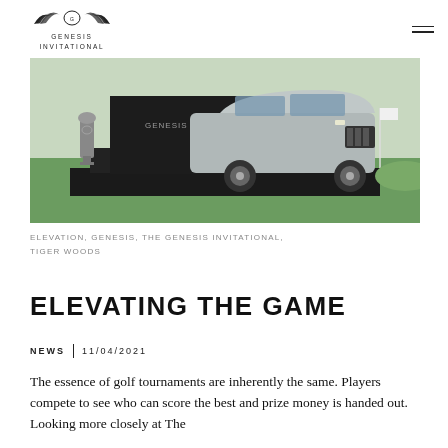GENESIS INVITATIONAL
[Figure (photo): A Genesis SUV displayed on a dark elevated platform on a golf course, with green grass in the background and a white flag visible. A trophy is shown to the left.]
ELEVATION, GENESIS, THE GENESIS INVITATIONAL, TIGER WOODS
ELEVATING THE GAME
NEWS | 11/04/2021
The essence of golf tournaments are inherently the same. Players compete to see who can score the best and prize money is handed out. Looking more closely at The